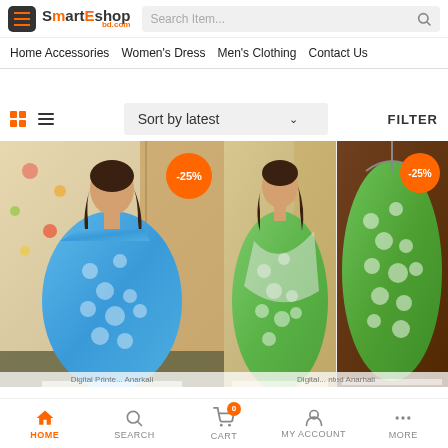[Figure (screenshot): SmartEshopBD website header with logo, search bar, navigation menu (Home Accessories, Women's Dress, Men's Clothing, Contact Us), product grid with blue and green Anarkali dresses showing -25% discount badges, sort controls, and bottom navigation bar]
SmartEshop bd.com | Search Item...
Home Accessories  Women's Dress  Men's Clothing  Contact Us
Sort by latest  FILTER
[Figure (photo): Blue printed Anarkali dress with -25% badge]
[Figure (photo): Green printed Anarkali dress, two views, with -25% badge]
Digital Printed Anarkali
Digital Printed Anarkali
HOME  SEARCH  CART 0  MY ACCOUNT  MORE